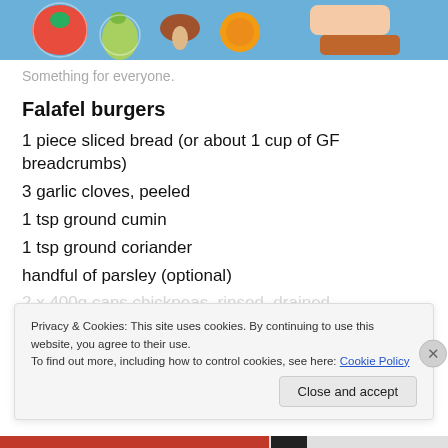[Figure (photo): Colorful illustrated food/fruit patterned fabric or tablecloth with cartoon-style drawings on blue background, partially visible at top of page]
Something for everyone.
Falafel burgers
1 piece sliced bread (or about 1 cup of GF breadcrumbs)
3 garlic cloves, peeled
1 tsp ground cumin
1 tsp ground coriander
handful of parsley (optional)
2 x 400g cans chickpeas, rinsed, drained
Privacy & Cookies: This site uses cookies. By continuing to use this website, you agree to their use. To find out more, including how to control cookies, see here: Cookie Policy